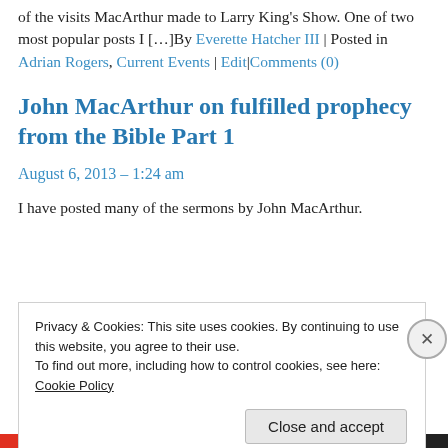of the visits MacArthur made to Larry King's Show. One of two most popular posts I […]By Everette Hatcher III | Posted in Adrian Rogers, Current Events | Edit|Comments (0)
John MacArthur on fulfilled prophecy from the Bible Part 1
August 6, 2013 – 1:24 am
I have posted many of the sermons by John MacArthur.
Privacy & Cookies: This site uses cookies. By continuing to use this website, you agree to their use.
To find out more, including how to control cookies, see here: Cookie Policy
Close and accept